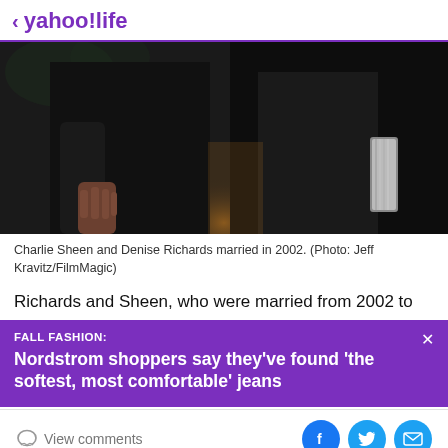< yahoo!life
[Figure (photo): Cropped photo showing two people dressed in black from the waist down. Left side shows a man's hand hanging at his side. Right side shows a woman holding a silver clutch bag. Warm amber light glows between them from behind.]
Charlie Sheen and Denise Richards married in 2002. (Photo: Jeff Kravitz/FilmMagic)
Richards and Sheen, who were married from 2002 to 2006...
FALL FASHION:
Nordstrom shoppers say they've found 'the softest, most comfortable' jeans
View comments